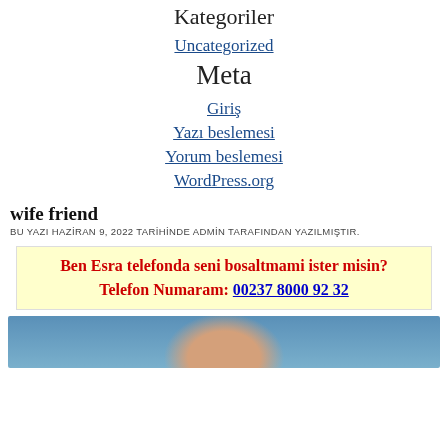Kategoriler
Uncategorized
Meta
Giriş
Yazı beslemesi
Yorum beslemesi
WordPress.org
wife friend
BU YAZI HAZİRAN 9, 2022 TARİHİNDE ADMİN TARAFINDAN YAZILMIŞTIR.
Ben Esra telefonda seni bosaltmami ister misin?
Telefon Numaram: 00237 8000 92 32
[Figure (photo): Cropped photo of a woman with dark hair, partially visible at the bottom of the page]